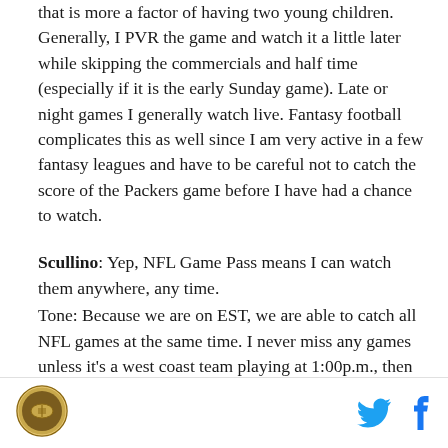that is more a factor of having two young children. Generally, I PVR the game and watch it a little later while skipping the commercials and half time (especially if it is the early Sunday game). Late or night games I generally watch live. Fantasy football complicates this as well since I am very active in a few fantasy leagues and have to be careful not to catch the score of the Packers game before I have had a chance to watch.
Scullino: Yep, NFL Game Pass means I can watch them anywhere, any time.
Tone: Because we are on EST, we are able to catch all NFL games at the same time. I never miss any games unless it's a west coast team playing at 1:00p.m., then
[Figure (logo): Circular logo with brown/gold football-themed emblem]
[Figure (other): Twitter bird icon in blue and Facebook f icon in blue]